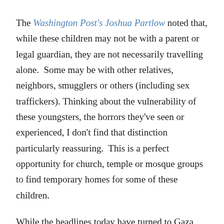The Washington Post's Joshua Partlow noted that, while these children may not be with a parent or legal guardian, they are not necessarily travelling alone.  Some may be with other relatives, neighbors, smugglers or others (including sex traffickers).  Thinking about the vulnerability of these youngsters, the horrors they've seen or experienced, I don't find that distinction particularly reassuring.  This is a perfect opportunity for church, temple or mosque groups to find temporary homes for some of these children.
While the headlines today have turned to Gaza and the Ukraine, we should still help take care of those children awaiting legal processing. Congress has to fund the